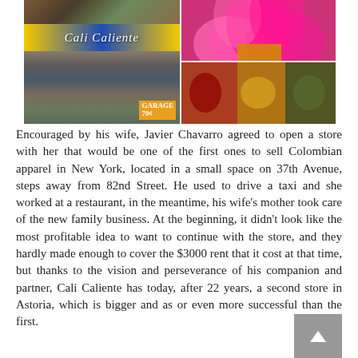[Figure (photo): Photo collage showing Cali Caliente store front with Colombian flag colored sign, and interior/costume photos with pink feathers and colorful garments/masks]
Encouraged by his wife, Javier Chavarro agreed to open a store with her that would be one of the first ones to sell Colombian apparel in New York, located in a small space on 37th Avenue, steps away from 82nd Street. He used to drive a taxi and she worked at a restaurant, in the meantime, his wife's mother took care of the new family business. At the beginning, it didn't look like the most profitable idea to want to continue with the store, and they hardly made enough to cover the $3000 rent that it cost at that time, but thanks to the vision and perseverance of his companion and partner, Cali Caliente has today, after 22 years, a second store in Astoria, which is bigger and as or even more successful than the first.